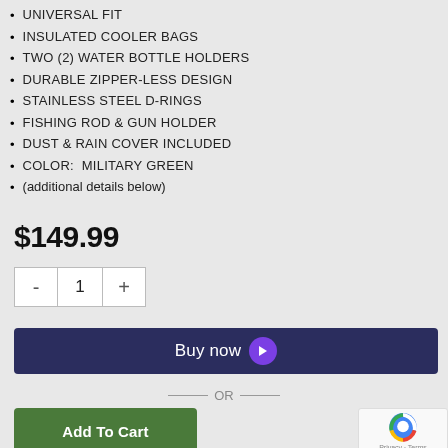UNIVERSAL FIT
INSULATED COOLER BAGS
TWO (2) WATER BOTTLE HOLDERS
DURABLE ZIPPER-LESS DESIGN
STAINLESS STEEL D-RINGS
FISHING ROD & GUN HOLDER
DUST & RAIN COVER INCLUDED
COLOR:  MILITARY GREEN
(additional details below)
$149.99
[Figure (other): Quantity selector with minus, 1, and plus buttons]
[Figure (other): Buy now button with purple arrow icon]
— OR —
[Figure (other): Add To Cart green button]
[Figure (other): reCAPTCHA widget with Privacy and Terms links]